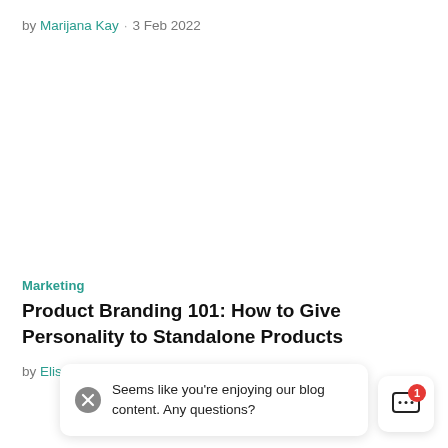by Marijana Kay · 3 Feb 2022
Marketing
Product Branding 101: How to Give Personality to Standalone Products
by Elise Dopson · 20 Jan 2022
Seems like you're enjoying our blog content. Any questions?